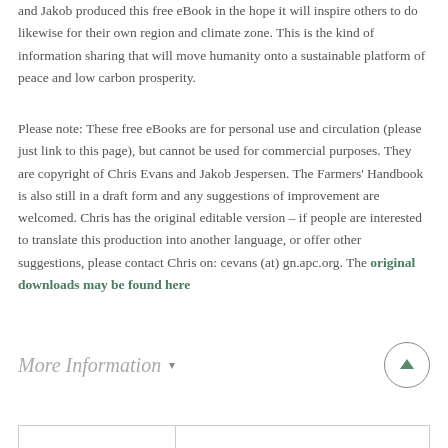and Jakob produced this free eBook in the hope it will inspire others to do likewise for their own region and climate zone. This is the kind of information sharing that will move humanity onto a sustainable platform of peace and low carbon prosperity.
Please note: These free eBooks are for personal use and circulation (please just link to this page), but cannot be used for commercial purposes. They are copyright of Chris Evans and Jakob Jespersen. The Farmers' Handbook is also still in a draft form and any suggestions of improvement are welcomed. Chris has the original editable version – if people are interested to translate this production into another language, or offer other suggestions, please contact Chris on: cevans (at) gn.apc.org. The original downloads may be found here
More Information